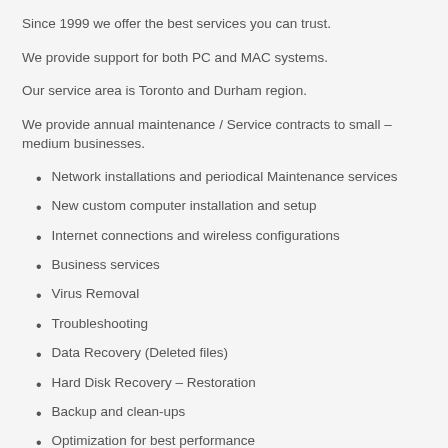Since 1999 we offer the best services you can trust.
We provide support for both PC and MAC systems.
Our service area is Toronto and Durham region.
We provide annual maintenance / Service contracts to small – medium businesses.
Network installations and periodical Maintenance services
New custom computer installation and setup
Internet connections and wireless configurations
Business services
Virus Removal
Troubleshooting
Data Recovery (Deleted files)
Hard Disk Recovery – Restoration
Backup and clean-ups
Optimization for best performance
Hard Disk – Memory upgrades